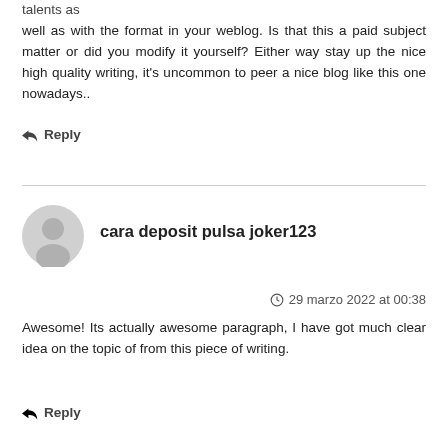talents as well as with the format in your weblog. Is that this a paid subject matter or did you modify it yourself? Either way stay up the nice high quality writing, it's uncommon to peer a nice blog like this one nowadays..
↩ Reply
cara deposit pulsa joker123
🕐 29 marzo 2022 at 00:38
Awesome! Its actually awesome paragraph, I have got much clear idea on the topic of from this piece of writing.
↩ Reply